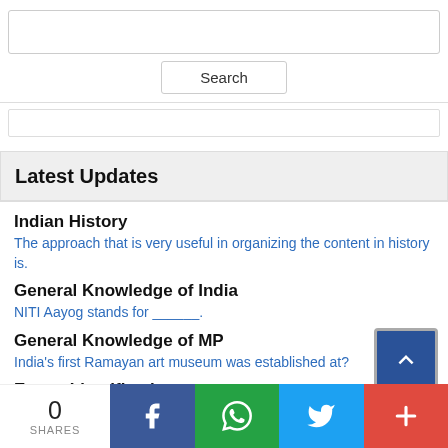[Figure (screenshot): Search input text box, empty]
[Figure (screenshot): Search button]
[Figure (screenshot): Empty bordered box (widget area)]
Latest Updates
Indian History
The approach that is very useful in organizing the content in history is.
General Knowledge of India
NITI Aayog stands for ______.
General Knowledge of MP
India's first Ramayan art museum was established at?
Errors Identification
0
SHARES